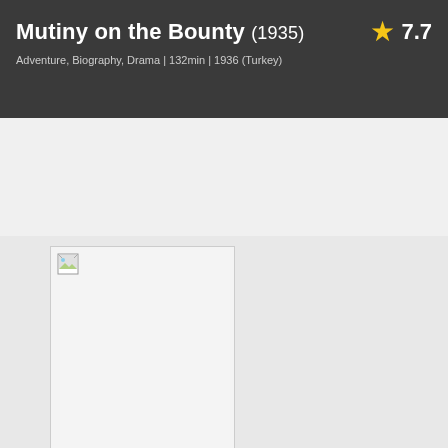Mutiny on the Bounty (1935)
Adventure, Biography, Drama | 132min | 1936 (Turkey)
7.7
[Figure (photo): Movie poster placeholder image (broken/missing image icon) for Mutiny on the Bounty]
[Figure (photo): Black and white still photograph from the film showing a person]